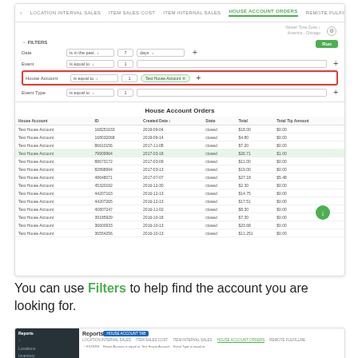[Figure (screenshot): Screenshot of House Account Orders report with filters panel showing Date, Event, House Account (highlighted with red border, value: Test House Account), and Event Type filters. Below is a data table titled 'House Account Orders' with columns: House Account, ID, Created Date, State, Total, Total Tip Amount, listing multiple rows of Test House Account entries with various IDs, dates (2019, 2017, 2018, 2016), all with status 'closed'.]
You can use Filters to help find the account you are looking for.
[Figure (screenshot): Smaller screenshot showing the Reports section with sidebar navigation, House Account Orders tab active, and filter row visible.]